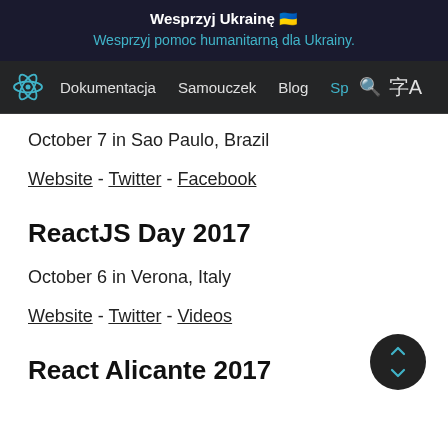Wesprzyj Ukrainę 🇺🇦
Wesprzyj pomoc humanitarną dla Ukrainy.
Dokumentacja  Samouczek  Blog  Sp 🔍 字A
October 7 in Sao Paulo, Brazil
Website - Twitter - Facebook
ReactJS Day 2017
October 6 in Verona, Italy
Website - Twitter - Videos
React Alicante 2017